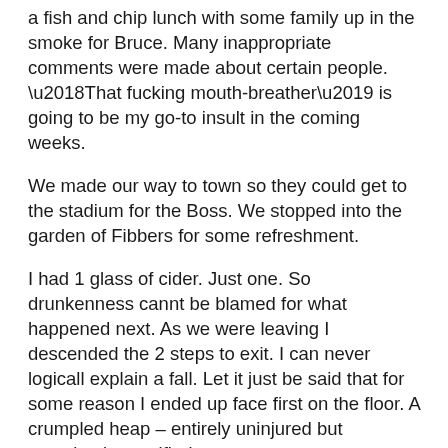a fish and chip lunch with some family up in the smoke for Bruce. Many inappropriate comments were made about certain people. ‘That fucking mouth-breather’ is going to be my go-to insult in the coming weeks.
We made our way to town so they could get to the stadium for the Boss. We stopped into the garden of Fibbers for some refreshment.
I had 1 glass of cider. Just one. So drunkenness cannt be blamed for what happened next. As we were leaving I descended the 2 steps to exit. I can never logicall explain a fall. Let it just be said that for some reason I ended up face first on the floor. A crumpled heap – entirely uninjured but completely mortified.
We sai our goodbyes. I reached Marks and Spencer in time for the ‘Reduced to clear’ yellow stickers. I picked up a roast beef dinner for 60 cents. I felt victorious.